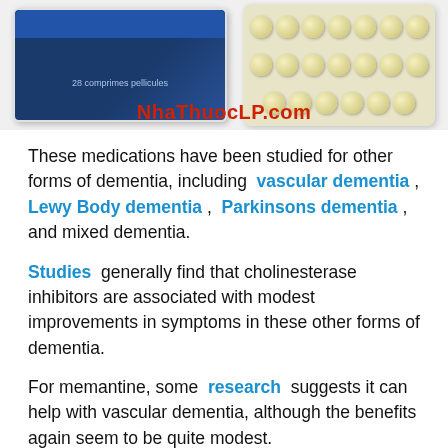[Figure (photo): Photo of a medication box labeled '28 comprimés pelliculés' (blue box) and a blister pack of pills, with watermark text 'NhaThuocLP.com' in red overlaid on the image.]
These medications have been studied for other forms of dementia, including vascular dementia , Lewy Body dementia , Parkinsons dementia , and mixed dementia.
Studies  generally find that cholinesterase inhibitors are associated with modest improvements in symptoms in these other forms of dementia.
For memantine, some  research  suggests it can help with vascular dementia, although the benefits again seem to be quite modest.
The effect of memantine on Lewy-Body dementia and